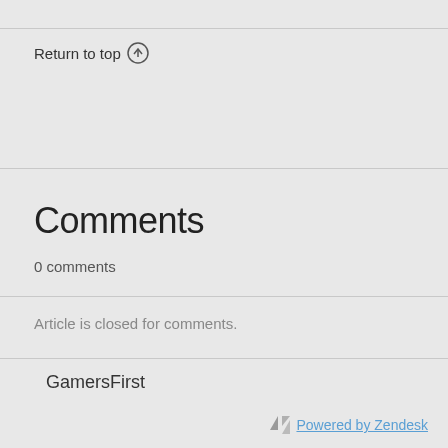Return to top ↑
Comments
0 comments
Article is closed for comments.
GamersFirst
Powered by Zendesk